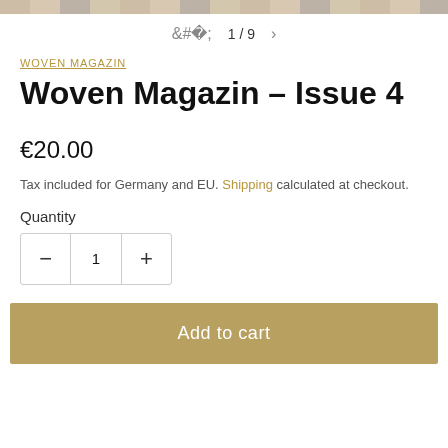[Figure (photo): Strip of product thumbnail images at the top of the page]
1 / 9
WOVEN MAGAZIN
Woven Magazin – Issue 4
€20.00
Tax included for Germany and EU. Shipping calculated at checkout.
Quantity
1
Add to cart